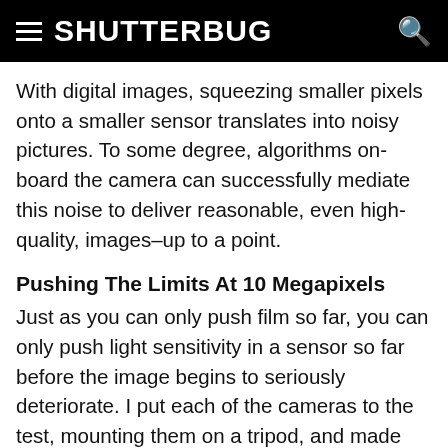SHUTTERBUG
With digital images, squeezing smaller pixels onto a smaller sensor translates into noisy pictures. To some degree, algorithms on-board the camera can successfully mediate this noise to deliver reasonable, even high-quality, images–up to a point.
Pushing The Limits At 10 Megapixels
Just as you can only push film so far, you can only push light sensitivity in a sensor so far before the image begins to seriously deteriorate. I put each of the cameras to the test, mounting them on a tripod, and made exposures at ISO 100 and 400, and, where available, ISO 800 and 1600. Because of the bright subject/background tonality, I increased exposure by